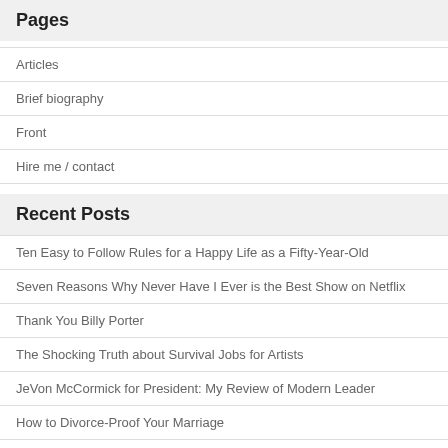Pages
Articles
Brief biography
Front
Hire me / contact
Recent Posts
Ten Easy to Follow Rules for a Happy Life as a Fifty-Year-Old
Seven Reasons Why Never Have I Ever is the Best Show on Netflix
Thank You Billy Porter
The Shocking Truth about Survival Jobs for Artists
JeVon McCormick for President: My Review of Modern Leader
How to Divorce-Proof Your Marriage